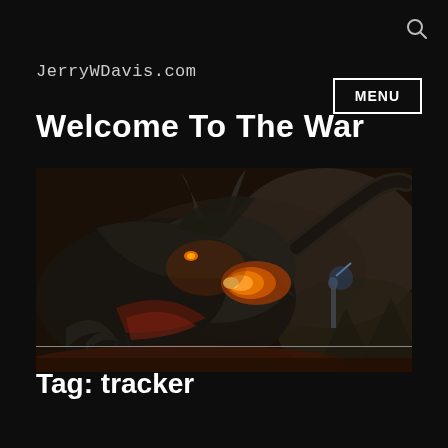[Figure (other): Search icon magnifying glass in top right corner]
JerryWDavis.com
MENU
Welcome To The War
[Figure (illustration): Fantasy illustration of a dark dragon with glowing orange fire breath facing a warrior with a sword, set against a dark smoky background]
Tag: tracker